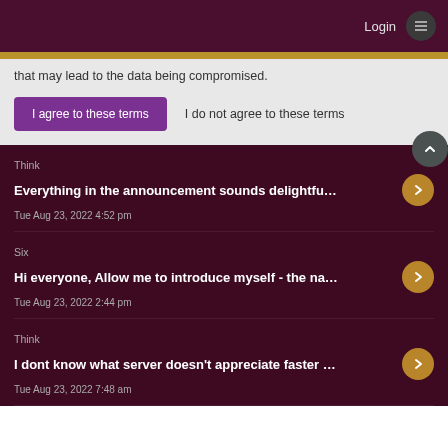Login ☰
that may lead to the data being compromised.
I agree to these terms   I do not agree to these terms
Think
Everything in the announcement sounds delightfu…
Tue Aug 23, 2022 4:52 pm
Six
Hi everyone, Allow me to introduce myself - the na…
Tue Aug 23, 2022 2:44 pm
Think
I dont know what server doesn't appreciate faster …
Tue Aug 23, 2022 7:48 am